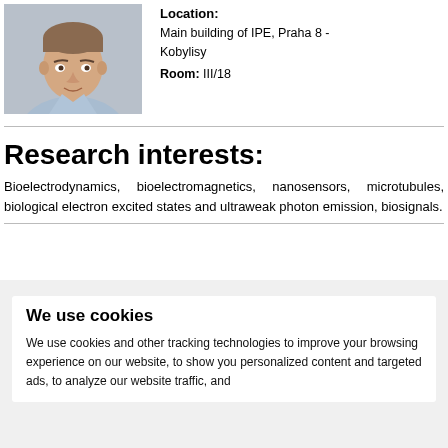[Figure (photo): Portrait photo of a young man in a light blue shirt against a grey background]
Location: Main building of IPE, Praha 8 - Kobylisy
Room: III/18
Research interests:
Bioelectrodynamics, bioelectromagnetics, nanosensors, microtubules, biological electron excited states and ultraweak photon emission, biosignals.
We use cookies
We use cookies and other tracking technologies to improve your browsing experience on our website, to show you personalized content and targeted ads, to analyze our website traffic, and